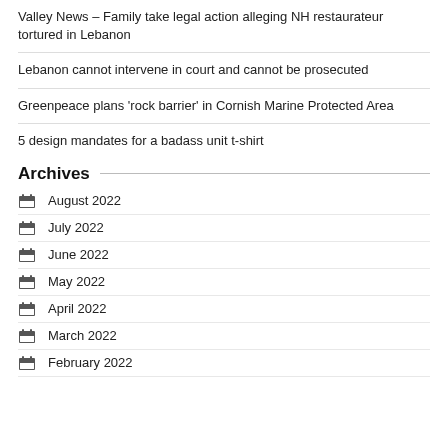Valley News – Family take legal action alleging NH restaurateur tortured in Lebanon
Lebanon cannot intervene in court and cannot be prosecuted
Greenpeace plans 'rock barrier' in Cornish Marine Protected Area
5 design mandates for a badass unit t-shirt
Archives
August 2022
July 2022
June 2022
May 2022
April 2022
March 2022
February 2022